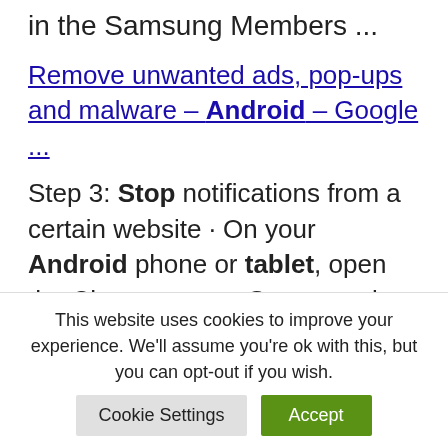in the Samsung Members ...
Remove unwanted ads, pop-ups and malware – Android – Google ...
Step 3: Stop notifications from a certain website · On your Android phone or tablet, open the Chrome app. · Go to a web page. · To the right of the address bar, ...
How To Stop Apps From Running In The Background in Android ...
This website uses cookies to improve your experience. We'll assume you're ok with this, but you can opt-out if you wish.